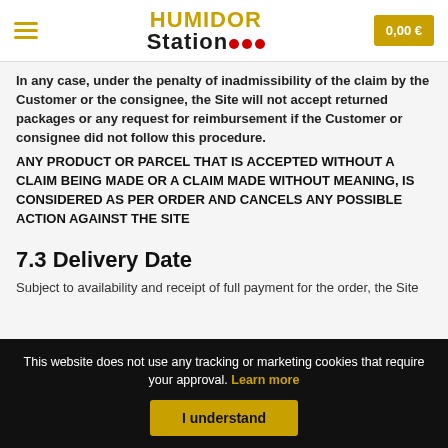HUMIDOR Station | 0,00 €
In any case, under the penalty of inadmissibility of the claim by the Customer or the consignee, the Site will not accept returned packages or any request for reimbursement if the Customer or consignee did not follow this procedure.
ANY PRODUCT OR PARCEL THAT IS ACCEPTED WITHOUT A CLAIM BEING MADE OR A CLAIM MADE WITHOUT MEANING, IS CONSIDERED AS PER ORDER AND CANCELS ANY POSSIBLE ACTION AGAINST THE SITE
7.3 Delivery Date
Subject to availability and receipt of full payment for the order, the Site
This website does not use any tracking or marketing cookies that require your approval. Learn more
I understand